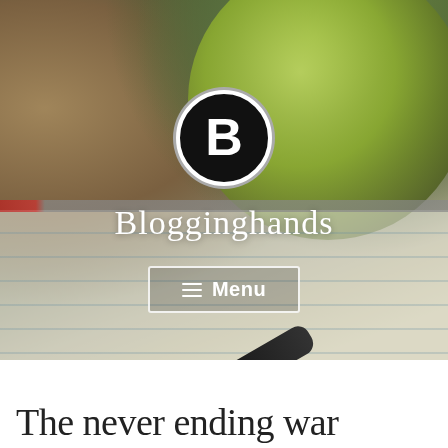[Figure (photo): Hero banner image showing a notebook with lined pages, a fountain pen, and a green mug in the background, with a dark overlay. Contains the Blogginghands logo (a stylized B in a black circle), the site title 'Blogginghands', and a Menu button.]
Blogginghands
≡  Menu
The never ending war